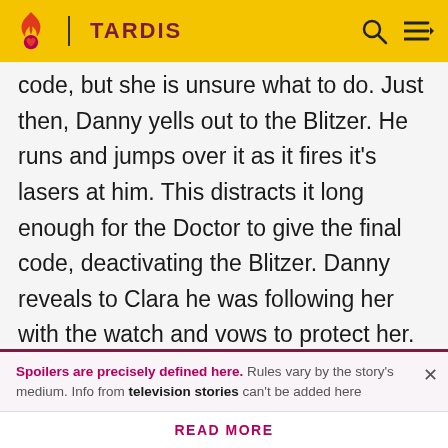TARDIS
code, but she is unsure what to do. Just then, Danny yells out to the Blitzer. He runs and jumps over it as it fires its lasers at him. This distracts it long enough for the Doctor to give the final code, deactivating the Blitzer. Danny reveals to Clara he was following her with the watch and vows to protect her. He tells her that he only needs to do one thing, which the Doctor confirms: to prove he's worthy of Clara. This is the reason that the Doctor is so angry; he wants to make sure Danny is the right choice for his best friend.
Spoilers are precisely defined here. Rules vary by the story's medium. Info from television stories can't be added here
READ MORE